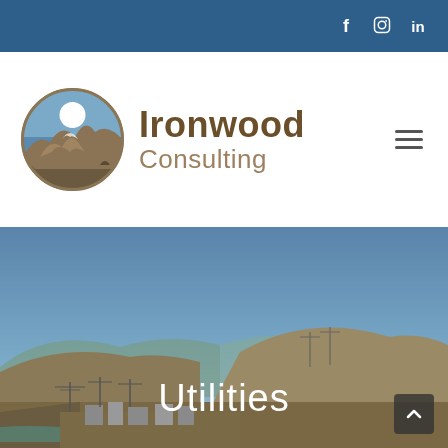Social media icons: f (Facebook), Instagram, in (LinkedIn)
[Figure (logo): Ironwood Consulting logo — circular emblem with desert landscape and white sun, next to bold text 'Ironwood Consulting']
[Figure (photo): Aerial/wide-angle photograph of a desert landscape with an electrical substation in the foreground, hills in the background, and a clear blue sky. Text overlay reads 'Utilities'.]